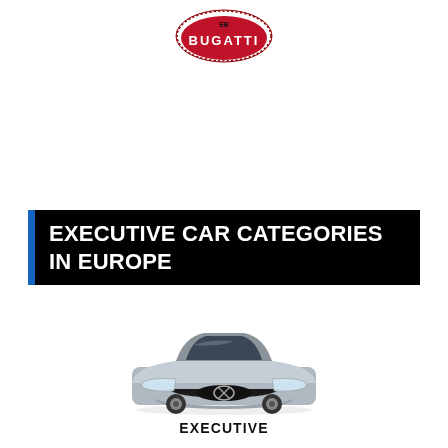[Figure (logo): Bugatti brand logo — red oval with dotted border, 'BUGATTI' text in white, small EB monogram above]
EXECUTIVE CAR CATEGORIES IN EUROPE
[Figure (photo): Front-facing photo of a silver Lexus executive sedan on white background]
EXECUTIVE